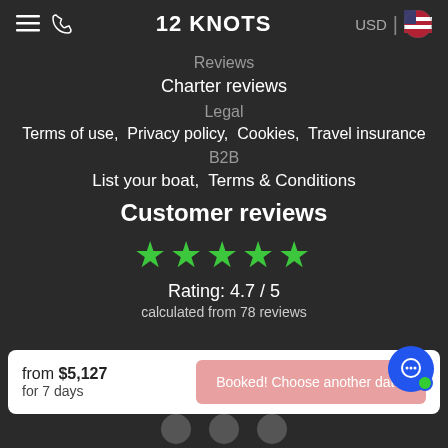12 KNOTS  USD
Reviews
Charter reviews
Legal
Terms of use,  Privacy policy,  Cookies,  Travel insurance
B2B
List your boat,  Terms & Conditions
Customer reviews
[Figure (other): Five green star rating icons]
Rating: 4.7 / 5
calculated from 78 reviews
from $5,127
for 7 days
Booked! Choose another date.